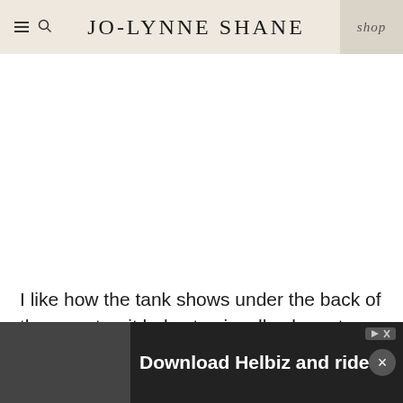JO-LYNNE SHANE
[Figure (photo): White/blank image area placeholder below site header]
I like how the tank shows under the back of the sweater; it helps to visually elongate the upper body, and it also adds interest.
[Figure (photo): Partial photo strip at bottom of page, partially obscured by ad overlay]
[Figure (screenshot): Advertisement overlay: 'Download Helbiz and ride' with close and play buttons]